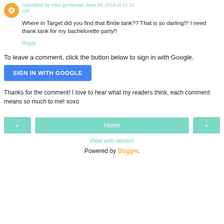Submitted by miss gentleman June 20, 2014 at 12:11 AM
Where in Target did you find that Bride tank?? That is so darling!!! I need thank tank for my bachelorette party!!
Reply
To leave a comment, click the button below to sign in with Google.
SIGN IN WITH GOOGLE
Thanks for the comment! I love to hear what my readers think, each comment means so much to me! xoxo
< Home >
View web version
Powered by Blogger.